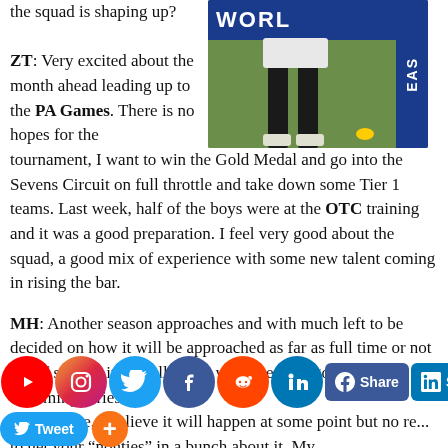the squad is shaping up?
ZT: Very excited about the month ahead leading up to the PA Games. There is no hopes for the tournament, I want to win the Gold Medal and go into the Sevens Circuit on full throttle and take down some Tier 1 teams. Last week, half of the boys were at the OTC training and it was a good preparation. I feel very good about the squad, a good mix of experience with some new talent coming in rising the bar.
[Figure (photo): Rugby player on field with World (WORL) signage and EAS banner in background]
MH: Another season approaches and with much left to be decided on how it will be approached as far as full time or not and if so how it will all work, what are your goals for the upcoming series?
ng full-time, I believe it will happen at some point but no re... to get your "nonties" in a bunch about it. My